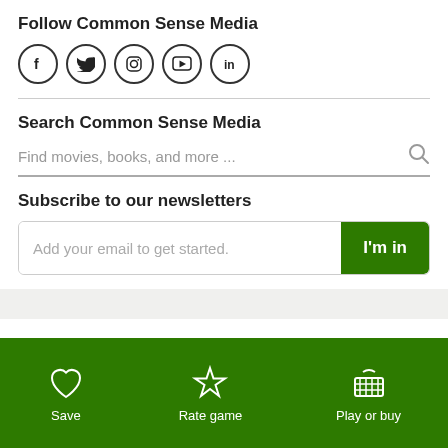Follow Common Sense Media
[Figure (other): Social media icons: Facebook, Twitter, Instagram, YouTube, LinkedIn]
Search Common Sense Media
Find movies, books, and more ...
Subscribe to our newsletters
Add your email to get started. I'm in
[Figure (other): Bottom green navigation bar with Save, Rate game, and Play or buy icons]